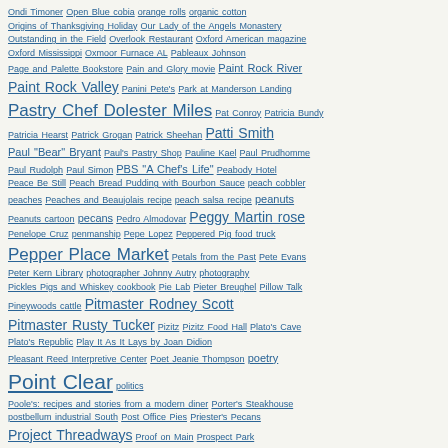Tag cloud/index page with links including: Ondi Timoner, Open Blue cobia, orange rolls, organic cotton, Origins of Thanksgiving Holiday, Our Lady of the Angels Monastery, Outstanding in the Field, Overlook Restaurant, Oxford American magazine, Oxford Mississippi, Oxmoor Furnace AL, Pableaux Johnson, Page and Palette Bookstore, Pain and Glory movie, Paint Rock River, Paint Rock Valley, Panini Pete's, Park at Manderson Landing, Pastry Chef Dolester Miles, Pat Conroy, Patricia Bundy, Patricia Hearst, Patrick Grogan, Patrick Sheehan, Patti Smith, Paul "Bear" Bryant, Paul's Pastry Shop, Pauline Kael, Paul Prudhomme, Paul Rudolph, Paul Simon, PBS "A Chef's Life", Peabody Hotel, Peace Be Still, Peach Bread Pudding with Bourbon Sauce, peach cobbler, peaches, Peaches and Beaujolais recipe, peach salsa recipe, peanuts, Peanuts cartoon, pecans, Pedro Almodovar, Peggy Martin rose, Penelope Cruz, penmanship, Pepe Lopez, Peppered Pig food truck, Pepper Place Market, Petals from the Past, Pete Evans, Peter Kern Library, photographer Johnny Autry, photography, Pickles Pigs and Whiskey cookbook, Pie Lab, Pieter Breughel, Pillow Talk, Pineywoods cattle, Pitmaster Rodney Scott, Pitmaster Rusty Tucker, Pizitz, Pizitz Food Hall, Plato's Cave, Plato's Republic, Play It As It Lays by Joan Didion, Pleasant Reed Interpretive Center, Poet Jeanie Thompson, poetry, Point Clear, politics, Poole's: recipes and stories from a modern diner, Porter's Steakhouse, postbellum industrial South, Post Office Pies, Priester's Pecans, Project Threadways, Proof on Main, Prospect Park, Proust's madeleine moment, PRV History Project, public art in Birmingham, public art in Huntsville, Public House - Chattanooga, Punta Clara Kitchen, Purveyor Huntsville, Q: Alabama's Barbecue Legends documentary, Quartet for the End of Time, Quentin Tarantino, quilting, Quinlan Castle, R.E.M., R. L. Burnside, RaDell Ross, Radio Free Europe, Railroad Park